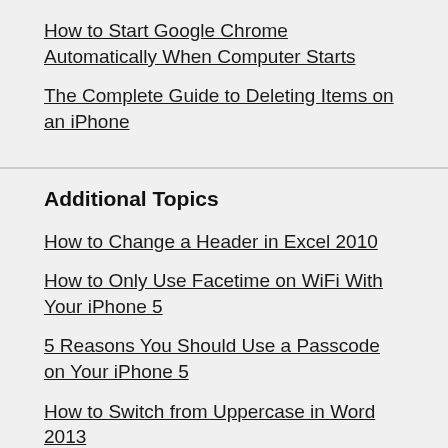How to Start Google Chrome Automatically When Computer Starts
The Complete Guide to Deleting Items on an iPhone
Additional Topics
How to Change a Header in Excel 2010
How to Only Use Facetime on WiFi With Your iPhone 5
5 Reasons You Should Use a Passcode on Your iPhone 5
How to Switch from Uppercase in Word 2013
How to Password Protect a Document in Word 2010